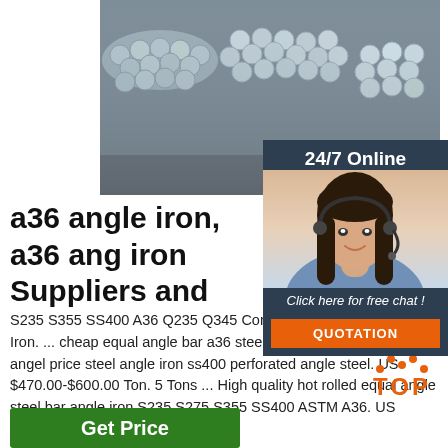[Figure (photo): Stacked steel angle iron / metal bars bundled together, silver/grey metallic material]
[Figure (infographic): 24/7 Online chat widget with female customer service agent wearing headset, 'Click here for free chat!' text, and orange QUOTATION button]
a36 angle iron, a36 angle iron Suppliers and
S235 S355 SS400 A36 Q235 Q345 Con structural hot rolled Angle Iron. ... cheap equal angle bar a36 steel angle iron mild equal angel price steel angle iron ss400 perforated angle steel. US $470.00-$600.00 Ton. 5 Tons ... High quality hot rolled equal angle steel bar angle iron S235 S275 S355 SS400 ASTM A36. US $0.40-$0 ...
[Figure (logo): TOP badge with orange dots above orange TOP text]
Get Price